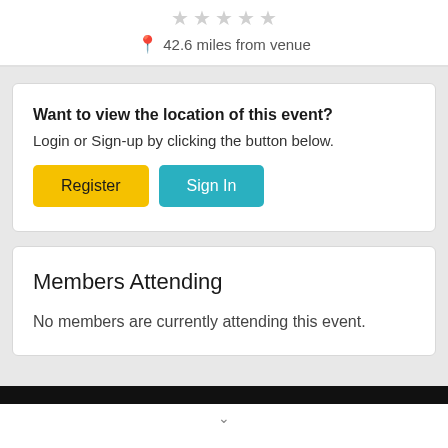[Figure (other): Five empty star rating icons in light gray]
42.6 miles from venue
Want to view the location of this event?
Login or Sign-up by clicking the button below.
Register
Sign In
Members Attending
No members are currently attending this event.